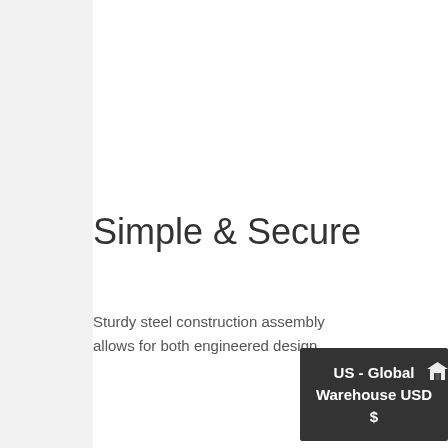Simple & Secure
Sturdy steel construction assembly allows for both engineered design.
US - Global Warehouse USD $